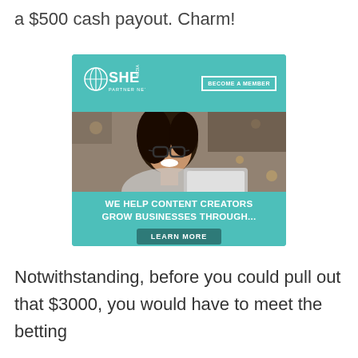a $500 cash payout. Charm!
[Figure (infographic): SHE Media Partner Network advertisement. Header with SHE Media logo and 'BECOME A MEMBER' button on teal background. Photo of smiling woman with glasses holding a tablet. Text: 'WE HELP CONTENT CREATORS GROW BUSINESSES THROUGH...' and 'LEARN MORE' button.]
Notwithstanding, before you could pull out that $3000, you would have to meet the betting